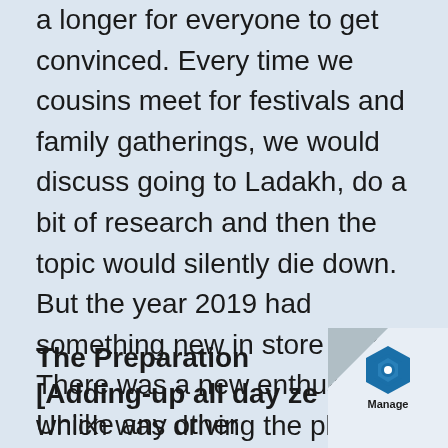a longer for everyone to get convinced. Every time we cousins meet for festivals and family gatherings, we would discuss going to Ladakh, do a bit of research and then the topic would silently die down. But the year 2019 had something new in store for us. There was a new enthusiasm which was driving the plan towards reality. Things found a quick conclusion and we were in high spirits to travel to dream destinations of Ladakh in July. [Long post alert ☺ ]
The Preparation [Adding-up all day ze...
Unlike any other location, Kashmir ne...
[Figure (logo): Blue hexagonal logo with 'Manage' text, page curl effect in bottom-right corner]